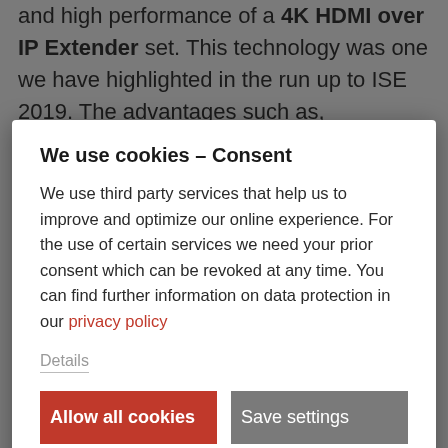and high performance of a 4K HDMI over IP Extender set. This technology was one we have highlighted in the run up to ISE 2019. The advantages such as, scalability, high resolution signal transmission and video wall control
We use cookies – Consent
We use third party services that help us to improve and optimize our online experience. For the use of certain services we need your prior consent which can be revoked at any time. You can find further information on data protection in our privacy policy
Details
Allow all cookies
Save settings
we're all trying to figure out ways of making our days more productive and trying to bring down barriers that prevent collaboration between people, teams and even